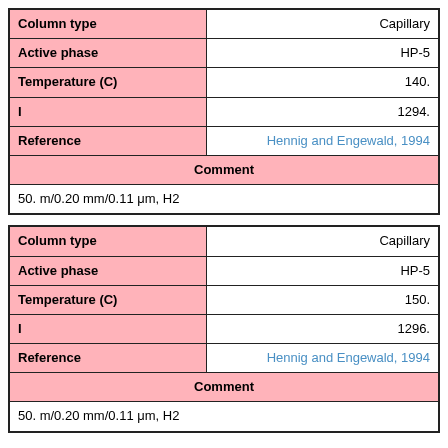| Column type | Capillary |
| --- | --- |
| Active phase | HP-5 |
| Temperature (C) | 140. |
| I | 1294. |
| Reference | Hennig and Engewald, 1994 |
| Comment |  |
| 50. m/0.20 mm/0.11 μm, H2 |  |
| Column type | Capillary |
| --- | --- |
| Active phase | HP-5 |
| Temperature (C) | 150. |
| I | 1296. |
| Reference | Hennig and Engewald, 1994 |
| Comment |  |
| 50. m/0.20 mm/0.11 μm, H2 |  |